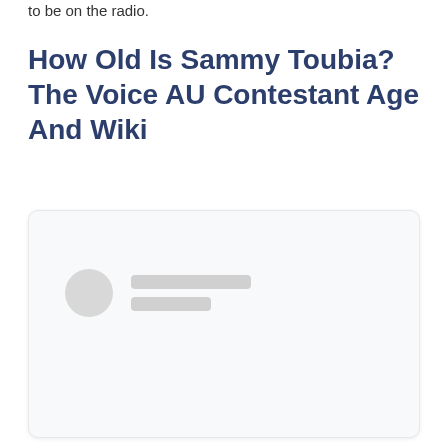to be on the radio.
How Old Is Sammy Toubia? The Voice AU Contestant Age And Wiki
[Figure (other): A loading placeholder card with a circular avatar placeholder and two rectangular content placeholder lines, set on a light gray rounded card background.]